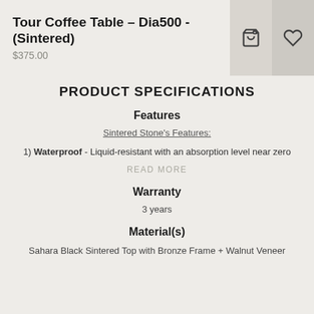Tour Coffee Table – Dia500 - (Sintered)
$375.00
PRODUCT SPECIFICATIONS
Features
Sintered Stone's Features:
1) Waterproof - Liquid-resistant with an absorption level near zero
READ MORE
Warranty
3 years
Material(s)
Sahara Black Sintered Top with Bronze Frame + Walnut Veneer